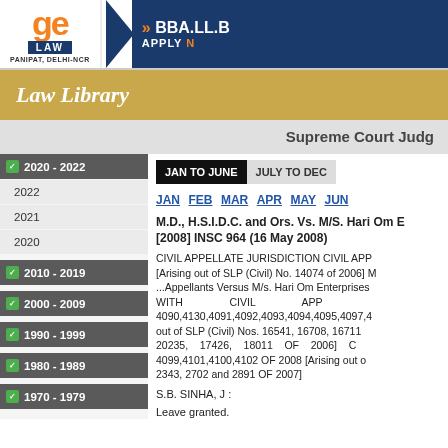[Figure (logo): Law school banner with GE Law logo (orange letters), Panipat Delhi-NCR text, and BBA.LL.B Apply Now button on dark blue background]
Law Library
Supreme Court Judg
2020 - 2022
2022
2021
2020
2010 - 2019
2000 - 2009
1990 - 1999
1980 - 1989
1970 - 1979
JAN TO JUNE  JULY TO DEC
JAN  FEB  MAR  APR  MAY  JUN
M.D., H.S.I.D.C. and Ors. Vs. M/S. Hari Om E [2008] INSC 964 (16 May 2008)
CIVIL APPELLATE JURISDICTION CIVIL APP [Arising out of SLP (Civil) No. 14074 of 2006] M ...Appellants Versus M/s. Hari Om Enterprises WITH CIVIL APP 4090,4130,4091,4092,4093,4094,4095,4097,4 out of SLP (Civil) Nos. 16541, 16708, 16711 20235, 17426, 18011 OF 2006] C 4099,4101,4100,4102 OF 2008 [Arising out o 2343, 2702 and 2891 OF 2007]
S.B. SINHA, J :
Leave granted.